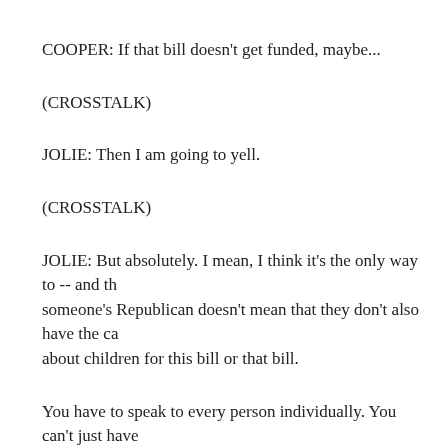COOPER: If that bill doesn't get funded, maybe...
(CROSSTALK)
JOLIE: Then I am going to yell.
(CROSSTALK)
JOLIE: But absolutely. I mean, I think it's the only way to -- and the someone's Republican doesn't mean that they don't also have the ca about children for this bill or that bill.
You have to speak to every person individually. You can't just have that person's an extreme...